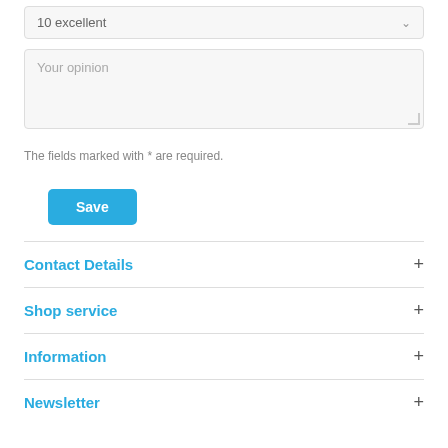10 excellent
Your opinion
The fields marked with * are required.
Save
Contact Details
Shop service
Information
Newsletter